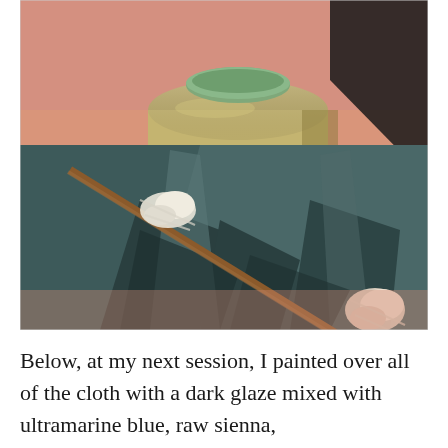[Figure (illustration): A detailed oil painting still life showing a wooden or ceramic bowl with a green circular lid, draped dark teal/grey cloth with folds and shadows, a wooden stick or branch with white fibrous material attached, and a salmon/terracotta background. The cloth dominates the lower half, with the bowl in the upper center and a salmon-pink background visible at top and bottom.]
Below, at my next session, I painted over all of the cloth with a dark glaze mixed with ultramarine blue, raw sienna,